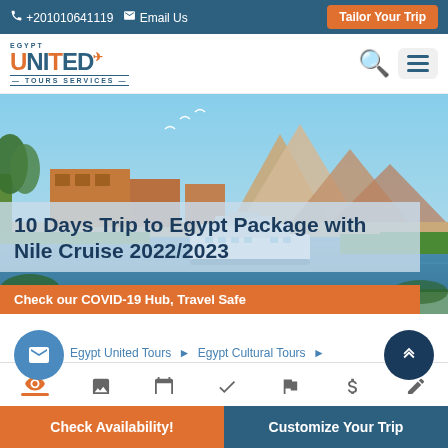+201010641119  Email Us  Tailor Your Trip
[Figure (logo): Egypt United Tours Services logo with orange and blue text]
[Figure (photo): Egypt travel photo showing Nile cruise boat, pyramids of Giza, palm trees, and blue sky with birds]
10 Days Trip to Egypt Package with Nile Cruise 2022/2023
Check our COVID-19 Hub, Travel Safe
Egypt United Tours > Egypt Cultural Tours >
Check Availability!  Customize Your Trip